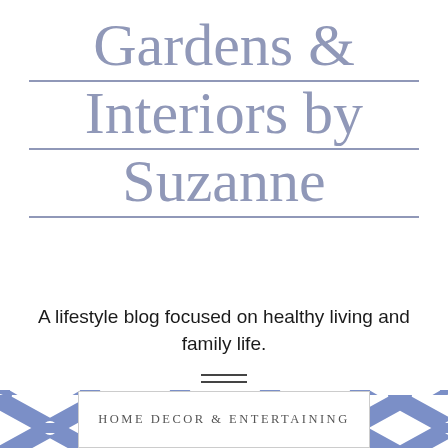Gardens & Interiors by Suzanne
A lifestyle blog focused on healthy living and family life.
[Figure (illustration): Blue bamboo/lattice geometric trellis pattern serving as decorative background band]
HOME DECOR & ENTERTAINING